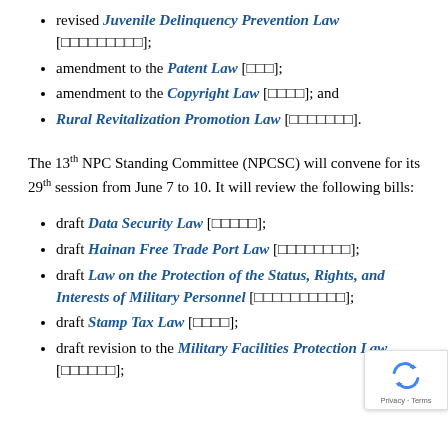revised Juvenile Delinquency Prevention Law [□□□□□□□□□];
amendment to the Patent Law [□□□];
amendment to the Copyright Law [□□□□]; and
Rural Revitalization Promotion Law [□□□□□□□].
The 13th NPC Standing Committee (NPCSC) will convene for its 29th session from June 7 to 10. It will review the following bills:
draft Data Security Law [□□□□□];
draft Hainan Free Trade Port Law [□□□□□□□□];
draft Law on the Protection of the Status, Rights, and Interests of Military Personnel [□□□□□□□□□□];
draft Stamp Tax Law [□□□□];
draft revision to the Military Facilities Protection Law [□□□□□□];